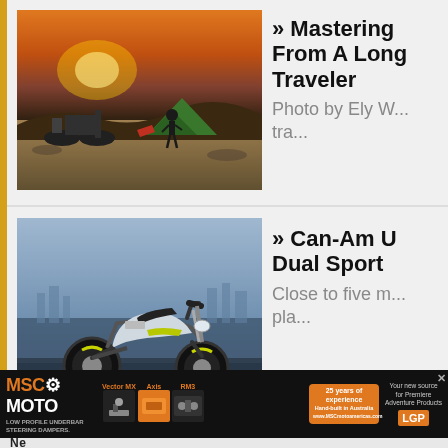[Figure (photo): Person setting up a green tent next to a loaded motorcycle at sunset, desert landscape]
» Mastering From A Long Traveler
Photo by Ely W... tra...
[Figure (photo): Modern electric dual-sport motorcycle concept, white and yellow-green, parked with city skyline in background]
» Can-Am U Dual Sport
Close to five m... pla...
[Figure (photo): MSC Moto advertisement banner showing Vector MX, Axis, and RM3 steering dampers with product thumbnails]
MSC MOTO LOW PROFILE UNDERBAR STEERING DAMPERS. Vector MX Axis RM3 25 years of experience Hand-built in Australia www.MSCmotoamericas.com Your new source for Premiere Adventure Products LGP